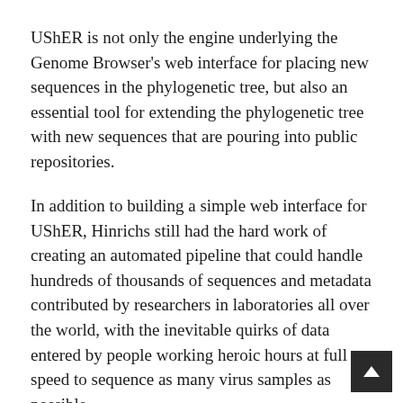UShER is not only the engine underlying the Genome Browser's web interface for placing new sequences in the phylogenetic tree, but also an essential tool for extending the phylogenetic tree with new sequences that are pouring into public repositories.
In addition to building a simple web interface for UShER, Hinrichs still had the hard work of creating an automated pipeline that could handle hundreds of thousands of sequences and metadata contributed by researchers in laboratories all over the world, with the inevitable quirks of data entered by people working heroic hours at full speed to sequence as many virus samples as possible.
Every night, Hinrichs's automated processes fetch data from the National Center for Biotechnology Information (NCBI) and COVID-19 Genomics UK (COG-UK) consortium; identify correspondences with sequences manually downloaded from GISAID, a genomic data hub headquartered in Munich, and use UShER to add tens of thousands of new sequences